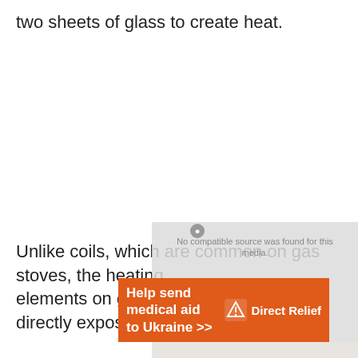two sheets of glass to create heat.
Unlike coils, which are common on gas stoves, the heating elements on glass tops are flat and not directly exposed to
[Figure (screenshot): Gray overlay box with 'No compatible source was found for this media' message and a close button]
[Figure (infographic): Orange advertisement banner: 'Help send medical aid to Ukraine >>' with Direct Relief logo]